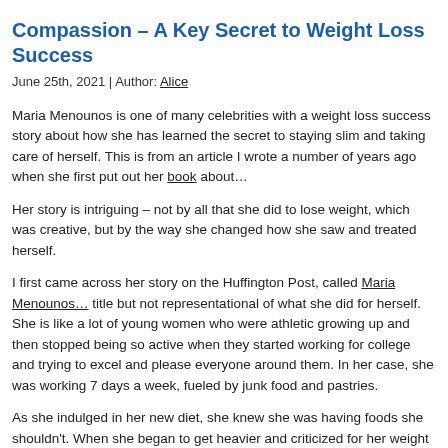Compassion – A Key Secret to Weight Loss Success
June 25th, 2021 | Author: Alice
Maria Menounos is one of many celebrities with a weight loss success story about how she has learned the secret to staying slim and taking care of herself. This is from an article I wrote a number of years ago when she first put out her book about...
Her story is intriguing – not by all that she did to lose weight, which was creative, but by the way she changed how she saw and treated herself.
I first came across her story on the Huffington Post, called Maria Menounos... title but not representational of what she did for herself. She is like a lot of young women who were athletic growing up and then stopped being so active when they started working and preparing for college and trying to excel and please everyone around them. In her case, she was working 7 days a week, fueled by junk food and pastries.
As she indulged in her new diet, she knew she was having foods she shouldn't. When she began to get heavier and criticized for her weight gain, she turned to more of those same foods as she would indulge with them. And the worse she felt about herself and her body, the more forbidden foods she knew she shouldn't have. Sound familiar?
She refers to her struggle with food as emotional eating, after she finally recognized that she uses food to avoid her feelings, how she felt about her body and her need to please others. Once she began to find ways to care about herself, she began to love herself. And the more she loved herself, she took care of herself. And that is just how it works.
The less you like yourself or the more ashamed you feel about your body or yourself, the less deserving of taking care of yourself. On the flip side, the more you care about yourself, the less you gain, and the more you want to do things to take even better care of...